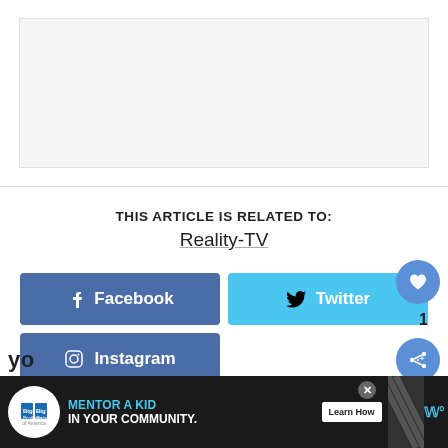[Figure (other): Light gray rectangular image placeholder area at top of page]
THIS ARTICLE IS RELATED TO:
Reality-TV
[Figure (other): Facebook share button - blue rectangular button with Facebook icon]
[Figure (other): Twitter share button - light blue rectangular button with Twitter bird icon]
[Figure (other): Instagram share button - blue-gray rectangular button with Instagram icon]
[Figure (other): Heart/like circular button on right side, blue circle with heart icon, count of 1]
[Figure (other): Share circular button on right side, blue circle with share icon]
[Figure (other): Advertisement bar at bottom: Big Brothers Big Sisters - Mentor a Kid in Your Community - Learn How]
yo